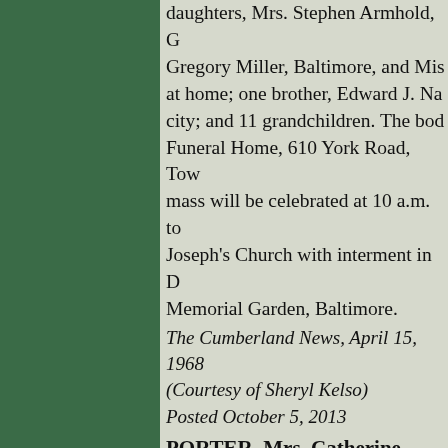daughters, Mrs. Stephen Armhold, Gregory Miller, Baltimore, and Mis at home; one brother, Edward J. Na city; and 11 grandchildren. The bod Funeral Home, 610 York Road, Tow mass will be celebrated at 10 a.m. to Joseph's Church with interment in D Memorial Garden, Baltimore.
The Cumberland News, April 15, 1968 (Courtesy of Sheryl Kelso) Posted October 5, 2013
PORTER, Mrs. Catherine Minnie
Hyndman, Pa., Apr 28 - Mrs. Cath Porter, 50, wife of James Vernon yesterday morning at her home h Porter was a member of Cumber No. 56, Order of the Eastern Sta Cumberland, Md., and the Metho Church, Ellerslie, Md., from whic will be held tomorrow at 2 p.m. B